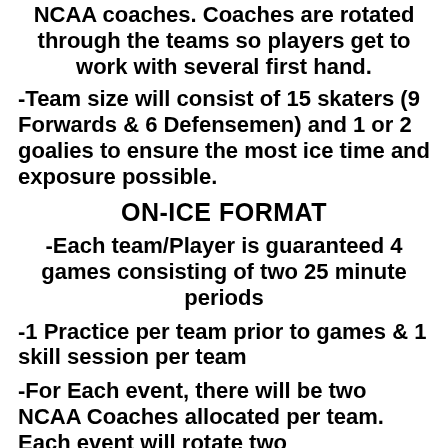NCAA coaches. Coaches are rotated through the teams so players get to work with several first hand.
-Team size will consist of 15 skaters (9 Forwards & 6 Defensemen) and 1 or 2 goalies to ensure the most ice time and exposure possible.
ON-ICE FORMAT
-Each team/Player is guaranteed 4 games consisting of two 25 minute periods
-1 Practice per team prior to games & 1 skill session per team
-For Each event, there will be two NCAA Coaches allocated per team. Each event will rotate two